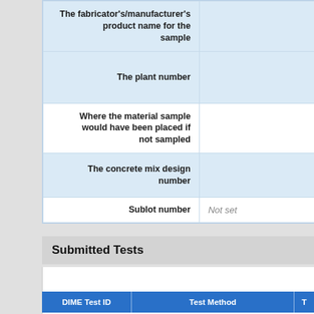| Field | Value |
| --- | --- |
| The fabricator's/manufacturer's product name for the sample |  |
| The plant number |  |
| Where the material sample would have been placed if not sampled |  |
| The concrete mix design number |  |
| Sublot number | Not set |
Submitted Tests
| DIME Test ID | Test Method | T |
| --- | --- | --- |